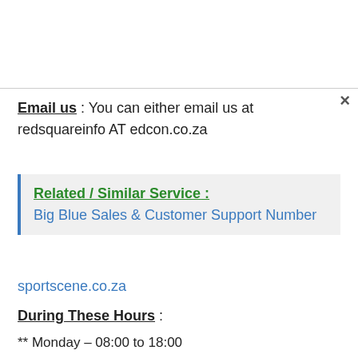Email us : You can either email us at redsquareinfo AT edcon.co.za
Related / Similar Service : Big Blue Sales & Customer Support Number
sportscene.co.za
During These Hours :
** Monday – 08:00 to 18:00
** Tuesday – 09:00 to 18:00
** Wednesday to Friday – 08:00 to 18:00